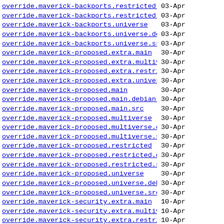override.maverick-backports.restricted.debian-i..> 03-Apr
override.maverick-backports.restricted.src 03-Apr
override.maverick-backports.universe 03-Apr
override.maverick-backports.universe.debian-ins..> 03-Apr
override.maverick-backports.universe.src 03-Apr
override.maverick-proposed.extra.main 30-Apr
override.maverick-proposed.extra.multiverse 30-Apr
override.maverick-proposed.extra.restricted 30-Apr
override.maverick-proposed.extra.universe 30-Apr
override.maverick-proposed.main 30-Apr
override.maverick-proposed.main.debian-installer 30-Apr
override.maverick-proposed.main.src 30-Apr
override.maverick-proposed.multiverse 30-Apr
override.maverick-proposed.multiverse.debian-in..> 30-Apr
override.maverick-proposed.multiverse.src 30-Apr
override.maverick-proposed.restricted 30-Apr
override.maverick-proposed.restricted.debian-in..> 30-Apr
override.maverick-proposed.restricted.src 30-Apr
override.maverick-proposed.universe 30-Apr
override.maverick-proposed.universe.debian-inst..> 30-Apr
override.maverick-proposed.universe.src 30-Apr
override.maverick-security.extra.main 10-Apr
override.maverick-security.extra.multiverse 10-Apr
override.maverick-security.extra.restricted 10-Apr
override.maverick-security.extra.universe 10-Apr
override.maverick-security.main 10-Apr
override.maverick-security.main.debian-installer 10-Apr
override.maverick-security.main.src 10-Apr
override.maverick-security.multiverse 10-Apr
override.maverick-security.multiverse.debian-in..> 10-Apr